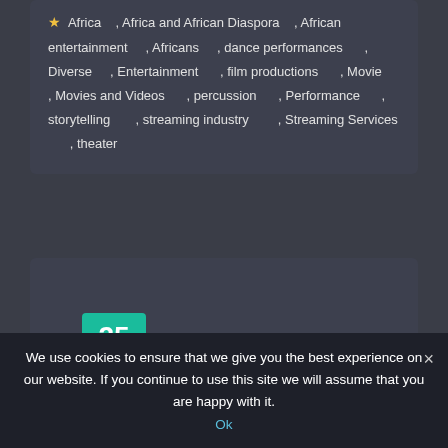★ Africa , Africa and African Diaspora , African entertainment , Africans , dance performances , Diverse , Entertainment , film productions , Movie , Movies and Videos , percussion , Performance , storytelling , streaming industry , Streaming Services , theater
[Figure (other): Date badge showing 25 Mar in teal/green color on a dark card]
Kora – African
We use cookies to ensure that we give you the best experience on our website. If you continue to use this site we will assume that you are happy with it. Ok ×